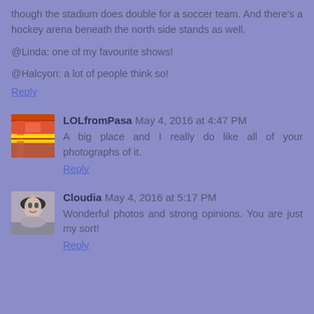though the stadium does double for a soccer team. And there's a hockey arena beneath the north side stands as well.
@Linda: one of my favourite shows!
@Halcyon: a lot of people think so!
Reply
LOLfromPasa May 4, 2016 at 4:47 PM
A big place and I really do like all of your photographs of it.
Reply
Cloudia May 4, 2016 at 5:17 PM
Wonderful photos and strong opinions. You are just my sort!
Reply